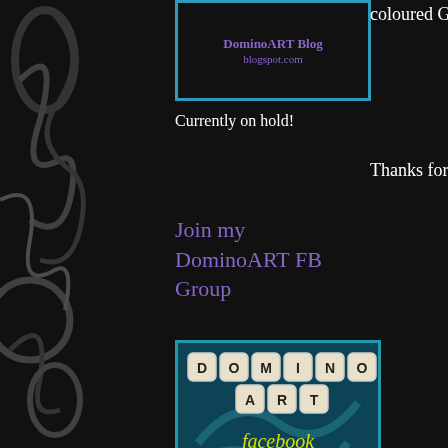[Figure (illustration): Decorative dark floral/swirl pattern on left side]
[Figure (illustration): DominoART Blog blogspot.com banner with teal border]
coloured Glitt
Currently on hold!
Thanks for visi
Join my DominoART FB Group
[Figure (illustration): DominoART Facebook Group image with domino tiles spelling DOMINO ART and Facebook Group text in yellow on teal/dark background]